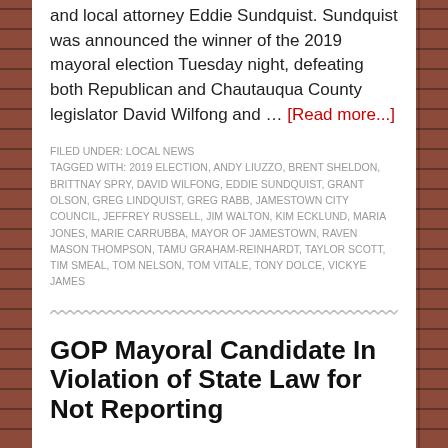and local attorney Eddie Sundquist. Sundquist was announced the winner of the 2019 mayoral election Tuesday night, defeating both Republican and Chautauqua County legislator David Wilfong and … [Read more...]
FILED UNDER: LOCAL NEWS
TAGGED WITH: 2019 ELECTION, ANDY LIUZZO, BRENT SHELDON, BRITTNAY SPRY, DAVID WILFONG, EDDIE SUNDQUIST, GRANT OLSON, GREG LINDQUIST, GREG RABB, JAMESTOWN CITY COUNCIL, JEFFREY RUSSELL, JIM WALTON, KIM ECKLUND, MARIA JONES, MARIE CARRUBBA, MAYOR OF JAMESTOWN, RAVEN MASON THOMPSON, TAMU GRAHAM-REINHARDT, TAYLOR SCOTT, TIM SMEAL, TOM NELSON, TOM VITALE, TONY DOLCE, VICKYE JAMES
GOP Mayoral Candidate In Violation of State Law for Not Reporting